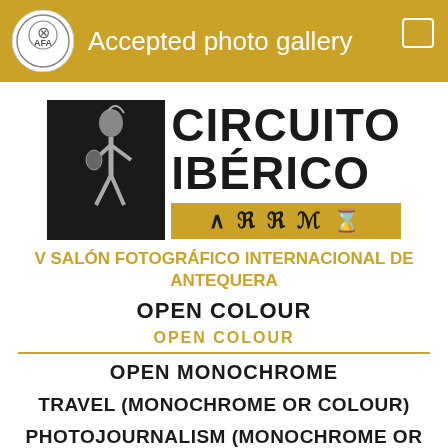Accepted photo gallery
[Figure (logo): Circuito Iberico logo with warrior figure and rune bar]
V SALÓN FOTOGRÁFICO INTERNACIONAL DE ANTEQUERA
OPEN COLOUR
OPEN COLOUR
OPEN MONOCHROME
TRAVEL (MONOCHROME OR COLOUR)
PHOTOJOURNALISM (MONOCHROME OR COLOUR)